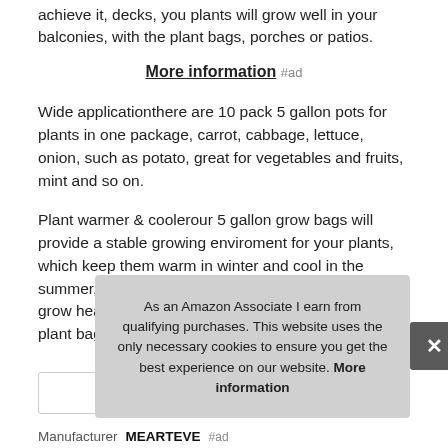achieve it, decks, you plants will grow well in your balconies, with the plant bags, porches or patios.
More information #ad
Wide applicationthere are 10 pack 5 gallon pots for plants in one package, carrot, cabbage, lettuce, onion, such as potato, great for vegetables and fruits, mint and so on.
Plant warmer & coolerour 5 gallon grow bags will provide a stable growing enviroment for your plants, which keep them warm in winter and cool in the summer, premium material allow roots to breathe and grow healthier, boosts plant growth. Besides, our plant bags can be folded to be flat for easy stor
As an Amazon Associate I earn from qualifying purchases. This website uses the only necessary cookies to ensure you get the best experience on our website. More information
Manufacturer MEARTEVE #ad